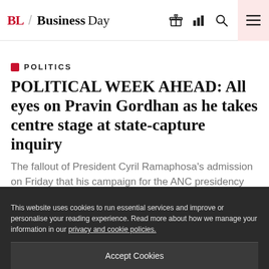BL BusinessDay
POLITICS
POLITICAL WEEK AHEAD: All eyes on Pravin Gordhan as he takes centre stage at state-capture inquiry
The fallout of President Cyril Ramaphosa's admission on Friday that his campaign for the ANC presidency had received a R500,000 donation from controversial security company Bosasa is set to continue this week
BL PREMIUM
This website uses cookies to run essential services and improve or personalise your reading experience. Read more about how we manage your information in our privacy and cookie policies.
Accept Cookies